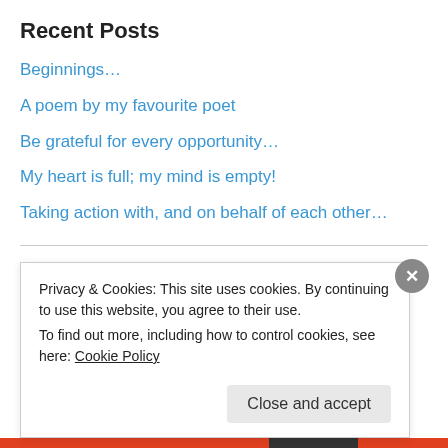Recent Posts
Beginnings…
A poem by my favourite poet
Be grateful for every opportunity…
My heart is full; my mind is empty!
Taking action with, and on behalf of each other…
Archives
October 2014
September 2014
August 2014
Privacy & Cookies: This site uses cookies. By continuing to use this website, you agree to their use. To find out more, including how to control cookies, see here: Cookie Policy
Close and accept